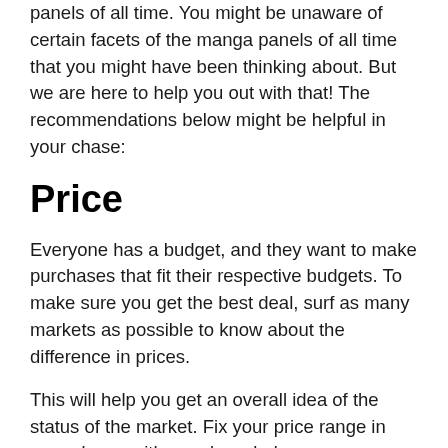panels of all time. You might be unaware of certain facets of the manga panels of all time that you might have been thinking about. But we are here to help you out with that! The recommendations below might be helpful in your chase:
Price
Everyone has a budget, and they want to make purchases that fit their respective budgets. To make sure you get the best deal, surf as many markets as possible to know about the difference in prices.
This will help you get an overall idea of the status of the market. Fix your price range in accordance with your knowledge.